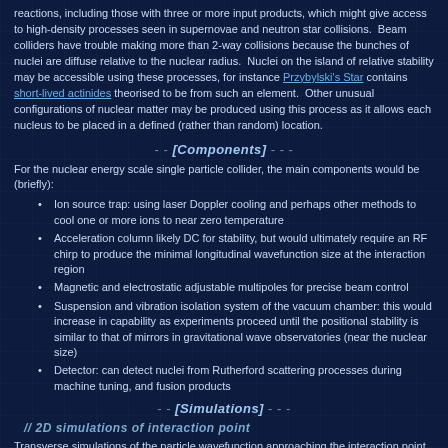reactions, including those with three or more input products, which might give access to high-density processes seen in supernovae and neutron star collisions.  Beam colliders have trouble making more than 2-way collisions because the bunches of nuclei are diffuse relative to the nuclear radius.  Nuclei on the island of relative stability may be accessible using these processes, for instance Przybylski's Star contains short-lived actinides theorised to be from such an element.  Other unusual configurations of nuclear matter may be produced using this process as it allows each nucleus to be placed in a defined (rather than random) location.
[Components]
For the nuclear energy scale single particle collider, the main components would be (briefly):
Ion source trap: using laser Doppler cooling and perhaps other methods to cool one or more ions to near zero temperature
Acceleration column likely DC for stability, but would ultimately require an RF chirp to produce the minimal longitudinal wavefunction size at the interaction region
Magnetic and electrostatic adjustable multipoles for precise beam control
Suspension and vibration isolation system of the vacuum chamber: this would increase in capability as experiments proceed until the positional stability is similar to that of mirrors in gravitational wave observatories (near the nuclear size)
Detector: can detect nuclei from Rutherford scattering processes during machine tuning, and fusion products
[Simulations]
// 2D simulations of interaction point
Transverse simulations of the particle wavefunction approaching the interaction point, including spherical aberration etc. (no paraxial assumption made).  The wavefunction is treated as a classical distribution while its size is large enough that diffractive effects are insignificant.  A series of multipoles is allowed before the interaction point in each direction, while an optimiser adjusts them to minimise the size